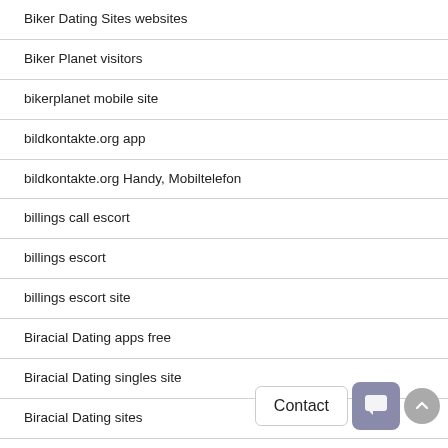Biker Dating Sites websites
Biker Planet visitors
bikerplanet mobile site
bildkontakte.org app
bildkontakte.org Handy, Mobiltelefon
billings call escort
billings escort
billings escort site
Biracial Dating apps free
Biracial Dating singles site
Biracial Dating sites
Biracial Dating visitors
birmingham escort index